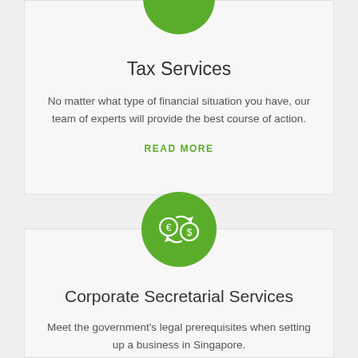[Figure (illustration): Green circle icon partially visible at top of page, containing a white tax/document icon]
Tax Services
No matter what type of financial situation you have, our team of experts will provide the best course of action.
READ MORE
[Figure (illustration): Green circle icon with white currency exchange symbols (euro and dollar coins with arrows)]
Corporate Secretarial Services
Meet the government's legal prerequisites when setting up a business in Singapore.
READ MORE